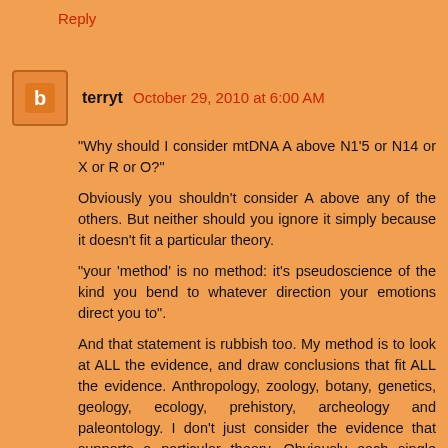Reply
terryt  October 29, 2010 at 6:00 AM
"Why should I consider mtDNA A above N1'5 or N14 or X or R or O?"
Obviously you shouldn't consider A above any of the others. But neither should you ignore it simply because it doesn't fit a particular theory.
"your 'method' is no method: it's pseudoscience of the kind you bend to whatever direction your emotions direct you to".
And that statement is rubbish too. My method is to look at ALL the evidence, and draw conclusions that fit ALL the evidence. Anthropology, zoology, botany, genetics, geology, ecology, prehistory, archeology and paleontology. I don't just consider the evidence that supports a particular theory. Obviously each single piece of evidence on its own is open to a wide range of interpretation. And it's possible to come